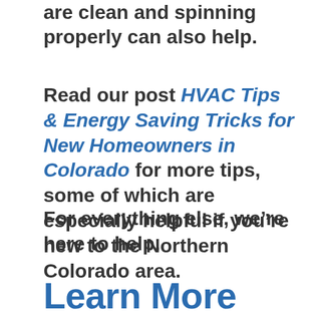are clean and spinning properly can also help.
Read our post HVAC Tips & Energy Saving Tricks for New Homeowners in Colorado for more tips, some of which are especially helpful if you’re new to the Northern Colorado area.
For everything else, we’re here to help.
Learn More